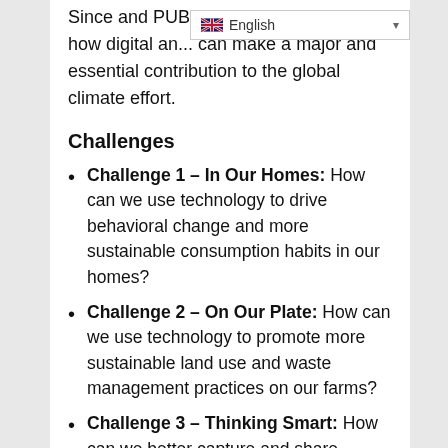Since and PUBLIC to ex... showcase how digital an... can make a major and essential contribution to the global climate effort.
Challenges
Challenge 1 – In Our Homes: How can we use technology to drive behavioral change and more sustainable consumption habits in our homes?
Challenge 2 – On Our Plate: How can we use technology to promote more sustainable land use and waste management practices on our farms?
Challenge 3 – Thinking Smart: How can we better capture and share energy